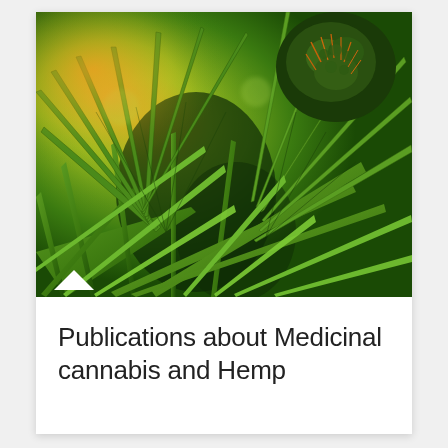[Figure (photo): Close-up photograph of cannabis/marijuana plant leaves and flower bud. The leaves are vibrant green with serrated edges. The upper-left area has a warm orange/yellow bokeh light effect. A dense flower bud with orange pistils is visible in the upper-right corner. The image has dark shadowy areas between the leaves.]
Publications about Medicinal cannabis and Hemp